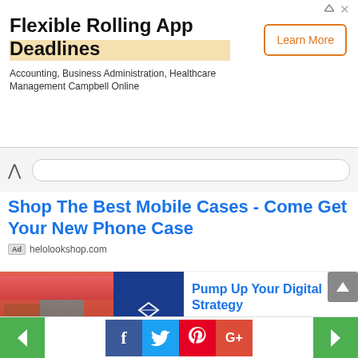[Figure (screenshot): Top ad banner for Flexible Rolling App Deadlines with Learn More button]
[Figure (screenshot): Ad for Shop The Best Mobile Cases - Come Get Your New Phone Case from helolookshop.com]
[Figure (screenshot): Ad card for Pump Up Your Digital Strategy - Pocketnest, with photo of two women in flower field]
[Figure (screenshot): Ad card for Download the Free Jointly App - Jointly, with Track Your Consumption image]
[Figure (screenshot): Bottom navigation bar with green arrows and social media icons (Facebook, Twitter, Pinterest, Google+)]